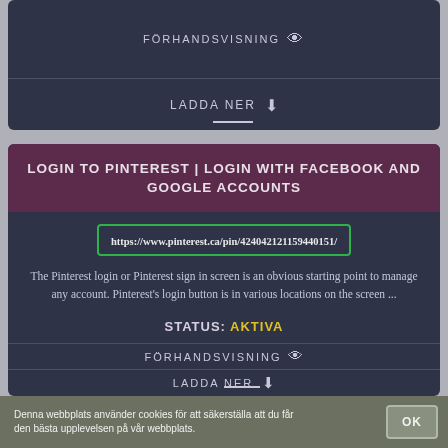FÖRHANDSVISNING 👁 (top card preview row)
LADDA NER ⬇ (top card download row)
LOGIN TO PINTEREST | LOGIN WITH FACEBOOK AND GOOGLE ACCOUNTS
https://www.pinterest.ca/pin/424042121159440151/
The Pinterest login or Pinterest sign in screen is an obvious starting point to manage any account. Pinterest's login button is in various locations on the screen ...
STATUS: AKTIVA
FÖRHANDSVISNING 👁
LADDA NER ⬇
Denna webbplats använder cookies för att säkerställa att du får den bästa upplevelsen på vår webbplats.
OK